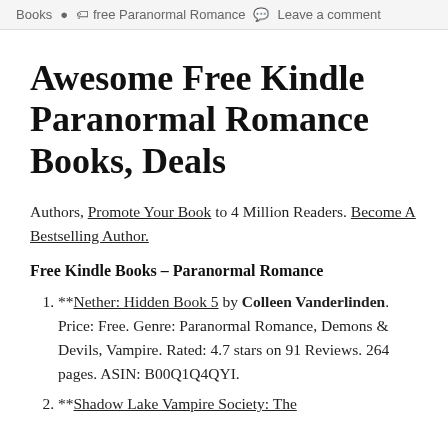Books   free Paranormal Romance   Leave a comment
Awesome Free Kindle Paranormal Romance Books, Deals
Authors, Promote Your Book to 4 Million Readers. Become A Bestselling Author.
Free Kindle Books – Paranormal Romance
**Nether: Hidden Book 5 by Colleen Vanderlinden. Price: Free. Genre: Paranormal Romance, Demons & Devils, Vampire. Rated: 4.7 stars on 91 Reviews. 264 pages. ASIN: B00Q1Q4QYI.
**Shadow Lake Vampire Society: The